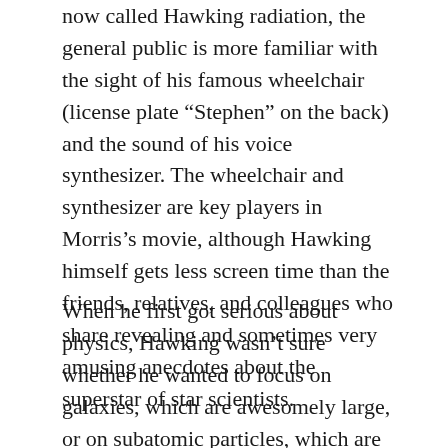now called Hawking radiation, the general public is more familiar with the sight of his famous wheelchair (license plate “Stephen” on the back) and the sound of his voice synthesizer. The wheelchair and synthesizer are key players in Morris’s movie, although Hawking himself gets less screen time than the friends, relatives, and colleagues who share revealing and sometimes very amusing anecdotes about the superstar of star scientists.
When he first got serious about physics, Hawking wasn’t sure whether he wanted to focus on galaxies, which are awesomely large, or on subatomic particles, which are awesomely small. His curiosity about the origins of the universe led